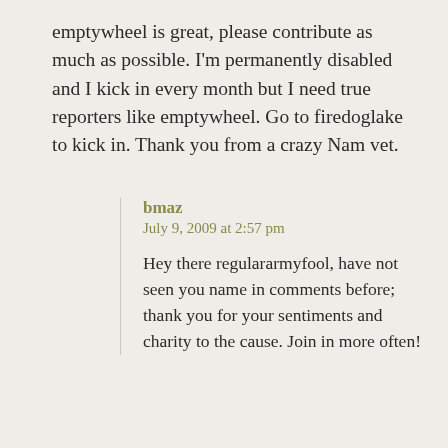emptywheel is great, please contribute as much as possible. I'm permanently disabled and I kick in every month but I need true reporters like emptywheel. Go to firedoglake to kick in. Thank you from a crazy Nam vet.
bmaz
July 9, 2009 at 2:57 pm

Hey there regulararmyfool, have not seen you name in comments before; thank you for your sentiments and charity to the cause. Join in more often!